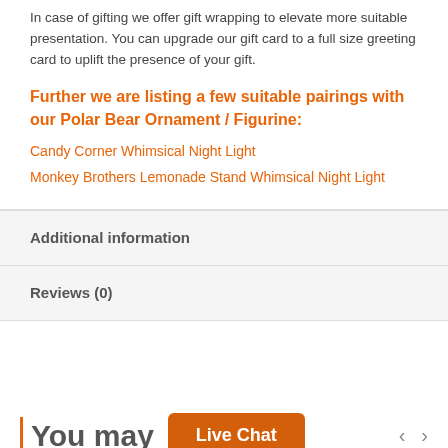In case of gifting we offer gift wrapping to elevate more suitable presentation. You can upgrade our gift card to a full size greeting card to uplift the presence of your gift.
Further we are listing a few suitable pairings with our Polar Bear Ornament / Figurine:
Candy Corner Whimsical Night Light
Monkey Brothers Lemonade Stand Whimsical Night Light
Additional information
Reviews (0)
You may
Live Chat